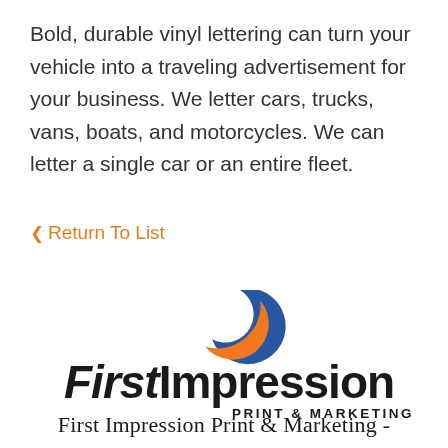Bold, durable vinyl lettering can turn your vehicle into a traveling advertisement for your business. We letter cars, trucks, vans, boats, and motorcycles. We can letter a single car or an entire fleet.
< Return To List
[Figure (logo): First Impression Print & Marketing logo with blue and orange swirl graphic above bold text reading 'FirstImpression PRINT & MARKETING']
First Impression Print & Marketing -